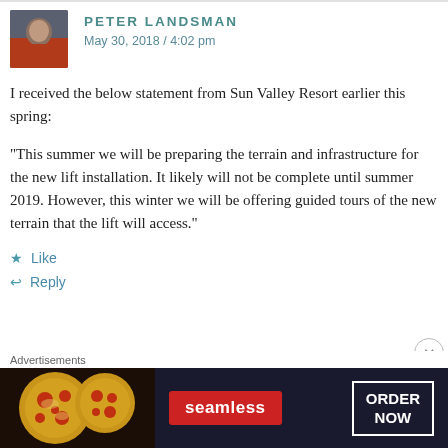PETER LANDSMAN
May 30, 2018 / 4:02 pm
I received the below statement from Sun Valley Resort earlier this spring:
“This summer we will be preparing the terrain and infrastructure for the new lift installation. It likely will not be complete until summer 2019. However, this winter we will be offering guided tours of the new terrain that the lift will access.”
★ Like
↩ Reply
Advertisements
[Figure (screenshot): Seamless food delivery advertisement banner with pizza image, Seamless logo, and ORDER NOW button]